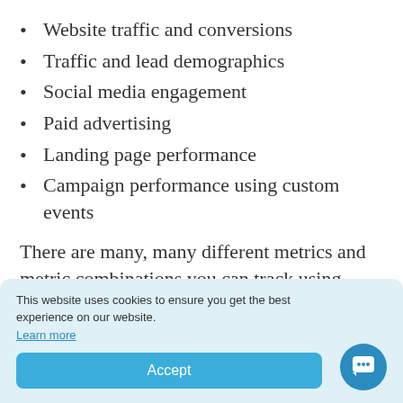Website traffic and conversions
Traffic and lead demographics
Social media engagement
Paid advertising
Landing page performance
Campaign performance using custom events
There are many, many different metrics and metric combinations you can track using Google Analytics. And in Databox, you can quickly visualize 100s of Google Analytics metrics in a variety of different ways.
This website uses cookies to ensure you get the best experience on our website.
Learn more
Accept